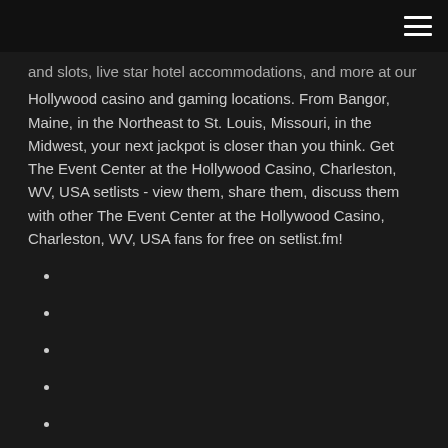and slots, live star hotel accommodations, and more at our Hollywood casino and gaming locations. From Bangor, Maine, in the Northeast to St. Louis, Missouri, in the Midwest, your next jackpot is closer than you think. Get The Event Center at the Hollywood Casino, Charleston, WV, USA setlists - view them, share them, discuss them with other The Event Center at the Hollywood Casino, Charleston, WV, USA fans for free on setlist.fm!